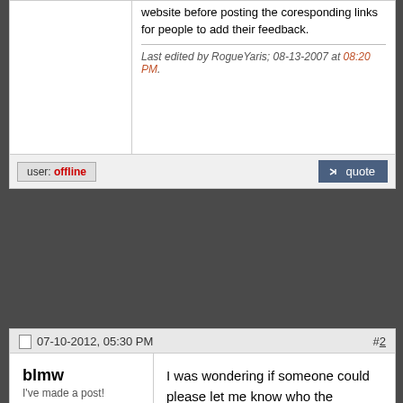website before posting the coresponding links for people to add their feedback.
Last edited by RogueYaris; 08-13-2007 at 08:20 PM.
user: offline
quote
07-10-2012, 05:30 PM  #2
blmw
I've made a post!
Drives: Subaru
Join Date: Mar 2012
Location: Chicago
Posts: 1
I was wondering if someone could please let me know who the appropriate person to contact would be regarding becoming a sponsor on this forum.

Thank you.

Sincerely,

Brown Line Metalworks